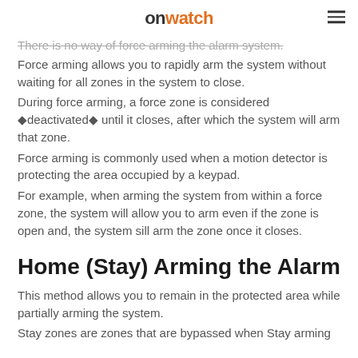onwatch
There is no way of force arming the alarm system.
Force arming allows you to rapidly arm the system without waiting for all zones in the system to close.
During force arming, a force zone is considered ◆deactivated◆ until it closes, after which the system will arm that zone.
Force arming is commonly used when a motion detector is protecting the area occupied by a keypad.
For example, when arming the system from within a force zone, the system will allow you to arm even if the zone is open and, the system sill arm the zone once it closes.
Home (Stay) Arming the Alarm
This method allows you to remain in the protected area while partially arming the system.
Stay zones are zones that are bypassed when Stay arming